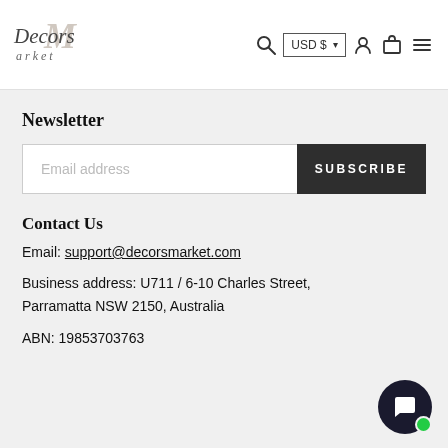[Figure (logo): Decors Market logo with stylized script and large M in background]
Newsletter
Email address
SUBSCRIBE
Contact Us
Email: support@decorsmarket.com
Business address: U711 / 6-10 Charles Street, Parramatta NSW 2150, Australia
ABN: 19853703763